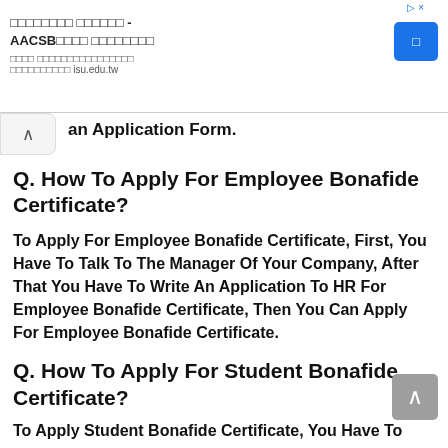[Figure (other): Advertisement banner for AACSB accredited university program with a blue button, shown in Chinese/Japanese characters and isu.edu.tw domain]
an Application Form.
Q. How To Apply For Employee Bonafide Certificate?
To Apply For Employee Bonafide Certificate, First, You Have To Talk To The Manager Of Your Company, After That You Have To Write An Application To HR For Employee Bonafide Certificate, Then You Can Apply For Employee Bonafide Certificate.
Q. How To Apply For Student Bonafide Certificate?
To Apply Student Bonafide Certificate, You Have To